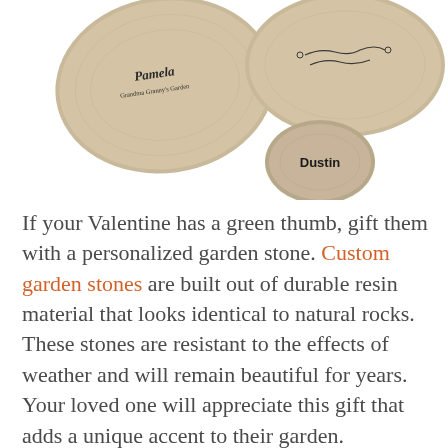[Figure (photo): Three decorative garden stones on white background. A large heart-shaped stone on the left with cursive text 'Pamela' and 'Grandma Granny's Garden', a large oval stone on the upper right with decorative scroll design, and a small round stone in the center bottom labeled 'Dustin'.]
If your Valentine has a green thumb, gift them with a personalized garden stone. Custom garden stones are built out of durable resin material that looks identical to natural rocks. These stones are resistant to the effects of weather and will remain beautiful for years. Your loved one will appreciate this gift that adds a unique accent to their garden.